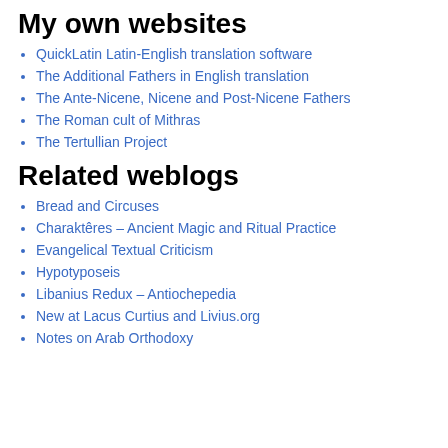My own websites
QuickLatin Latin-English translation software
The Additional Fathers in English translation
The Ante-Nicene, Nicene and Post-Nicene Fathers
The Roman cult of Mithras
The Tertullian Project
Related weblogs
Bread and Circuses
Charaktêres – Ancient Magic and Ritual Practice
Evangelical Textual Criticism
Hypotyposeis
Libanius Redux – Antiochepedia
New at Lacus Curtius and Livius.org
Notes on Arab Orthodoxy